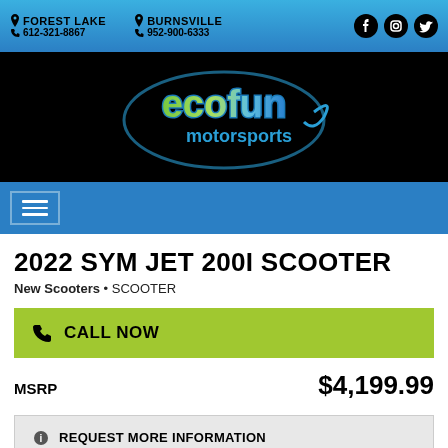FOREST LAKE 612-321-8867 | BURNSVILLE 952-900-6333
[Figure (logo): Ecofun Motorsports logo on black background — stylized colorful text reading 'ecofun motorsports']
2022 SYM JET 200I SCOOTER
New Scooters • SCOOTER
CALL NOW
MSRP $4,199.99
REQUEST MORE INFORMATION